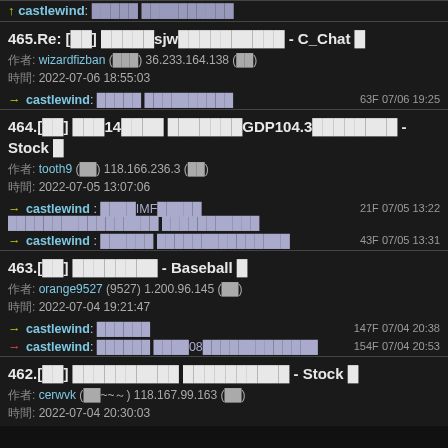↑ castlewind: 推文內容 (partial at top)
465. Re: [討論] xxxxsjwxxxxxxxxxx - C_Chat 看板
作者: wizardfizban (邊緣人) 36.233.164.138 (台灣)
時間: 2022-07-06 18:55:03
→ castlewind: 推文內容 63F 07/06 19:25
464.[討論] xxx14xxx xxxxxxxxGDP104.3xxxxxxxx - Stock 看板
作者: tooth9 (牙9) 118.166.236.3 (台灣)
時間: 2022-07-05 13:07:06
→ castlewind: xxxIMFxxxxx xxxxxxxxxxxxxx xxxxxxxxxxx 21F 07/05 13:22
→ castlewind: xxxxxx xxxxxxxxxxxxxxx 43F 07/05 13:31
463.[討論] xxxxxxxx - Baseball 看板
作者: orange9527 (9527) 1.200.96.145 (台灣)
時間: 2022-07-04 19:21:47
→ castlewind: xxxxxx 147F 07/04 20:38
→ castlewind: xxxxxx xxxx08xxxxxxxxxx 154F 07/04 20:53
462.[討論] xxxxxxxxxx xxxxxxxxxx - Stock 看板
作者: cerwvk (文~~～) 118.167.99.163 (台灣)
時間: 2022-07-04 20:30:03